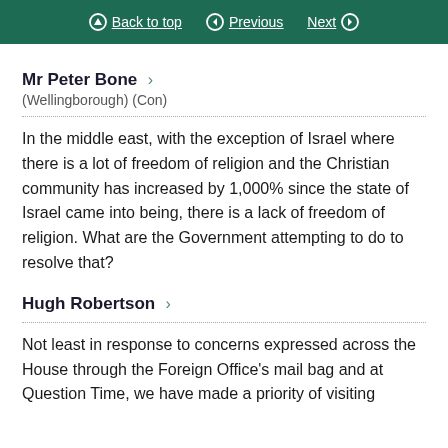Back to top  Previous  Next
Mr Peter Bone
(Wellingborough) (Con)
In the middle east, with the exception of Israel where there is a lot of freedom of religion and the Christian community has increased by 1,000% since the state of Israel came into being, there is a lack of freedom of religion. What are the Government attempting to do to resolve that?
Hugh Robertson
Not least in response to concerns expressed across the House through the Foreign Office's mail bag and at Question Time, we have made a priority of visiting